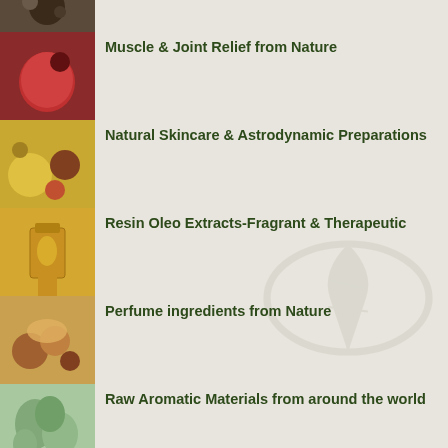Muscle & Joint Relief from Nature
Natural Skincare & Astrodynamic Preparations
Resin Oleo Extracts-Fragrant & Therapeutic
Perfume ingredients from Nature
Raw Aromatic Materials from around the world
Resin Extracts-For medicated Oils, Salves & Cremes
Sustainable Harvest & Fair Trade
Tinctures for perfume, incense and Traditional medicine
Tinctures, Balms, Oils, Waxes, Cremes and Salves
Traditional Aphrodisiacs